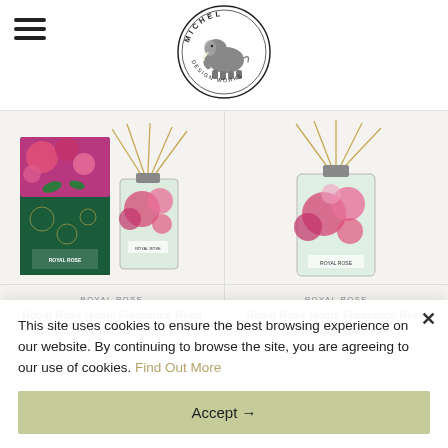[Figure (logo): Michel Design Works logo — circular badge with elephant illustration and text 'MICHEL DESIGN WORKS']
[Figure (photo): Royal Rose Home Fragrance Reed Diffuser product — box with rose floral pattern and green decorative design, plus glass reed diffuser bottle with pink roses and reed sticks]
ROYAL ROSE
Royal Rose Home Fragrance Reed Diffuser
SKU: HFRD357
[Figure (photo): Royal Rose Home Fragrance Reed Diffuser Tester — glass bottle with pink roses and reed sticks, no box]
ROYAL ROSE
Royal Rose Home Fragrance Reed Diffuser Tester
SKU: HFRD357T
This site uses cookies to ensure the best browsing experience on our website. By continuing to browse the site, you are agreeing to our use of cookies. Find Out More
Accept →